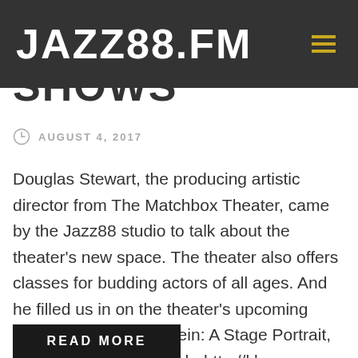JAZZ88.FM
SHOWS
AUGUST 4, 2017
Douglas Stewart, the producing artistic director from The Matchbox Theater, came by the Jazz88 studio to talk about the theater's new space. The theater also offers classes for budding actors of all ages. And he filled us in on the theater's upcoming shows, including Einstein: A Stage Portrait, starring Thomas Schuch. http://kbem-recast.streamguys1.com/content/u20170804085513065.mp3
READ MORE